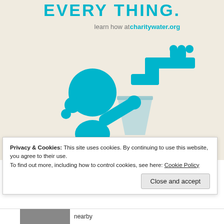[Figure (illustration): Charity: water advertisement poster with teal/cyan color scheme on beige background. Shows a stylized figure (girl with ponytail) holding a glass up toward a water faucet/tap. The illustration uses a simple flat icon style in cyan/teal blue. Text at top reads 'EVERY THING.' and 'learn how at charitywater.org']
EVERY THING.
learn how at charitywater.org
Privacy & Cookies: This site uses cookies. By continuing to use this website, you agree to their use.
To find out more, including how to control cookies, see here: Cookie Policy
Close and accept
nearby